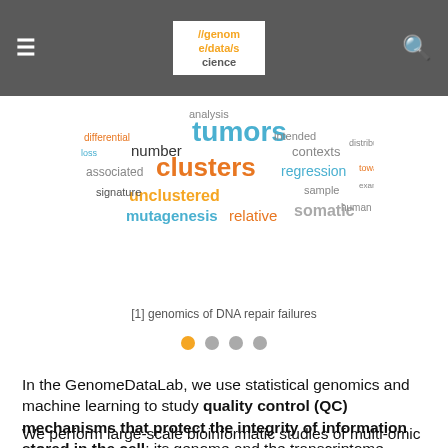//genome/data/science
[Figure (infographic): Word cloud containing genomics-related terms such as tumors, clusters, unclustered, mutagenesis, somatic, regression, contexts, relative, number, associated, signature, analysis in various colors (orange, blue, teal, red)]
[1] genomics of DNA repair failures
In the GenomeDataLab, we use statistical genomics and machine learning to study quality control (QC) mechanisms that protect the integrity of information stored in the cell: its genome and the transcriptome.
We perform large-scale bioinformatic studies of multi-omic data from human tumors